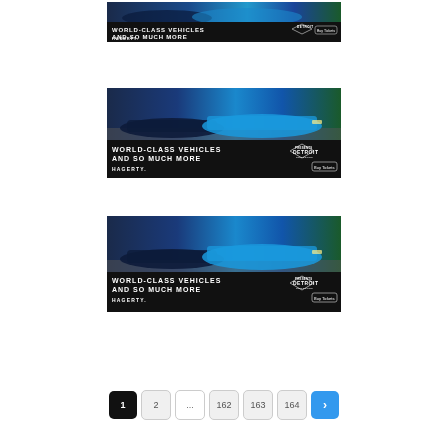[Figure (advertisement): Hagerty Detroit car show advertisement banner (top, partial). Shows sports cars with text 'WORLD-CLASS VEHICLES AND SO MUCH MORE', HAGERTY brand, Detroit diamond logo, and Buy Tickets button.]
[Figure (advertisement): Hagerty Detroit car show advertisement banner (middle). Shows two sports cars (dark blue and bright blue McLaren), with text 'WORLD-CLASS VEHICLES AND SO MUCH MORE', HAGERTY brand, Detroit diamond logo, and Buy Tickets button.]
[Figure (advertisement): Hagerty Detroit car show advertisement banner (bottom). Shows two sports cars (dark blue and bright blue McLaren), with text 'WORLD-CLASS VEHICLES AND SO MUCH MORE', HAGERTY brand, Detroit diamond logo, and Buy Tickets button.]
Pagination: 1 (active), 2, ..., 162, 163, 164, > (next)